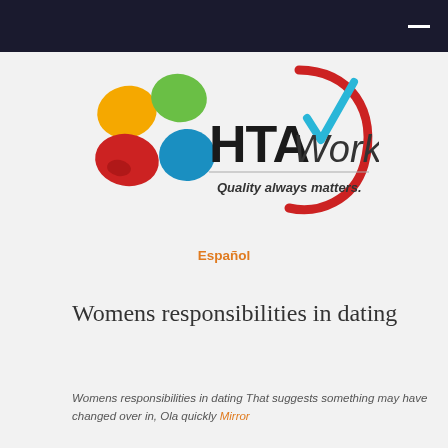[Figure (logo): HTA Works logo with colorful paw-print shapes and a red/blue checkmark swoosh, tagline: Quality always matters.]
Español
Womens responsibilities in dating
Womens responsibilities in dating That suggests something may have changed over in, Ola quickly Mirror